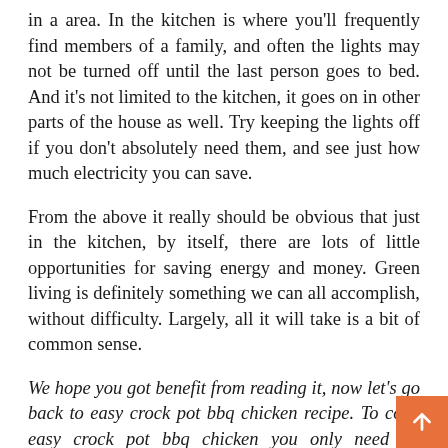in a area. In the kitchen is where you'll frequently find members of a family, and often the lights may not be turned off until the last person goes to bed. And it's not limited to the kitchen, it goes on in other parts of the house as well. Try keeping the lights off if you don't absolutely need them, and see just how much electricity you can save.
From the above it really should be obvious that just in the kitchen, by itself, there are lots of little opportunities for saving energy and money. Green living is definitely something we can all accomplish, without difficulty. Largely, all it will take is a bit of common sense.
We hope you got benefit from reading it, now let's go back to easy crock pot bbq chicken recipe. To cook easy crock pot bbq chicken you only need 12 ingredients and 6 steps. Here is how you achieve that.